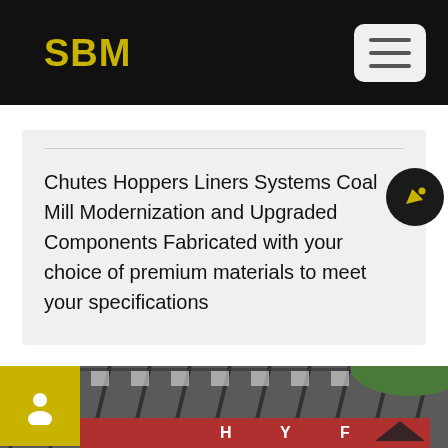SBM
Chutes Hoppers Liners Systems Coal Mill Modernization and Upgraded Components Fabricated with your choice of premium materials to meet your specifications
[Figure (photo): Industrial facility with metal roof/canopy structure and red signage with letters H, Y, F visible. Green hills in background. Yellow user icon overlay on top left. Navigation arrow at bottom right.]